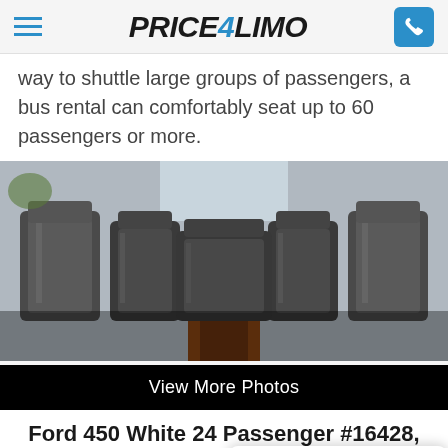Price4Limo
way to shuttle large groups of passengers, a bus rental can comfortably seat up to 60 passengers or more.
[Figure (photo): Interior view of a bus or shuttle vehicle showing rows of black leather seats with a wooden floor aisle running down the center.]
View More Photos
Ford 450 White 24 Passenger #16428, L...
24